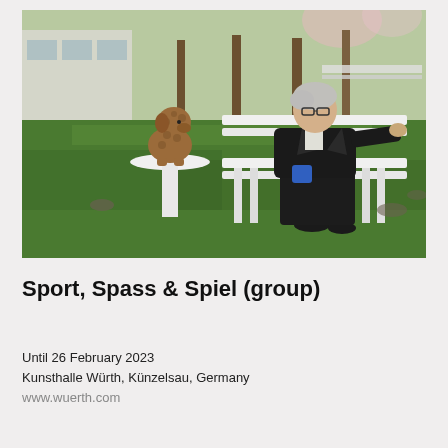[Figure (photo): Outdoor park scene: an elderly woman wearing a black jacket sits on a white bench, while a curly brown poodle sits on a separate white pedestal/small table to her left. Green grass, bare trees, and a building are visible in the background.]
Sport, Spass & Spiel (group)
Until 26 February 2023
Kunsthalle Würth, Künzelsau, Germany
www.wuerth.com